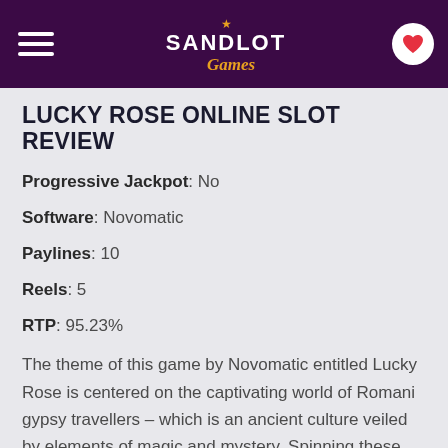Sandlot Games
LUCKY ROSE ONLINE SLOT REVIEW
Progressive Jackpot: No
Software: Novomatic
Paylines: 10
Reels: 5
RTP: 95.23%
The theme of this game by Novomatic entitled Lucky Rose is centered on the captivating world of Romani gypsy travellers – which is an ancient culture veiled by elements of magic and mystery. Spinning these five reels would uncover some of these mysteries while lining up matching symbols